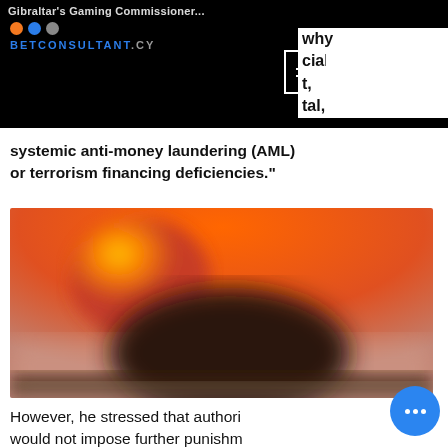Gibraltar's Gaming Commissioner...
why ...cial ...t, ...tal, systemic anti-money laundering (AML) or terrorism financing deficiencies."
[Figure (photo): Blurred orange and brown abstract landscape photo]
However, he stressed that authori... would not impose further punishm... ...of the distion...